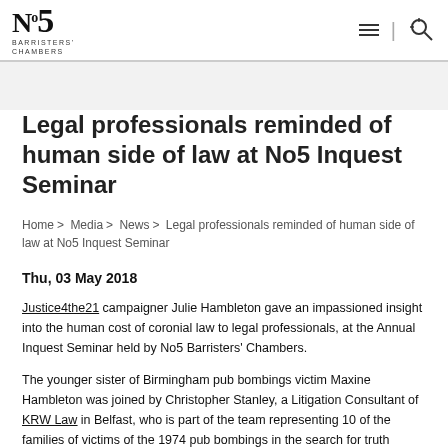No5 Barristers' Chambers
Legal professionals reminded of human side of law at No5 Inquest Seminar
Home > Media > News > Legal professionals reminded of human side of law at No5 Inquest Seminar
Thu, 03 May 2018
Justice4the21 campaigner Julie Hambleton gave an impassioned insight into the human cost of coronial law to legal professionals, at the Annual Inquest Seminar held by No5 Barristers’ Chambers.
The younger sister of Birmingham pub bombings victim Maxine Hambleton was joined by Christopher Stanley, a Litigation Consultant of KRW Law in Belfast, who is part of the team representing 10 of the families of victims of the 1974 pub bombings in the search for truth